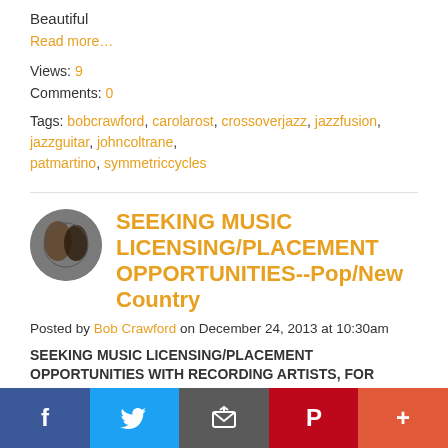Beautiful
Read more…
Views: 9
Comments: 0
Tags: bobcrawford, carolarost, crossoverjazz, jazzfusion, jazzguitar, johncoltrane, patmartino, symmetriccycles
SEEKING MUSIC LICENSING/PLACEMENT OPPORTUNITIES--Pop/New Country
Posted by Bob Crawford on December 24, 2013 at 10:30am
SEEKING MUSIC LICENSING/PLACEMENT OPPORTUNITIES WITH RECORDING ARTISTS, FOR UNDERSCORING IN FILM, TV, ADVERTISING AND